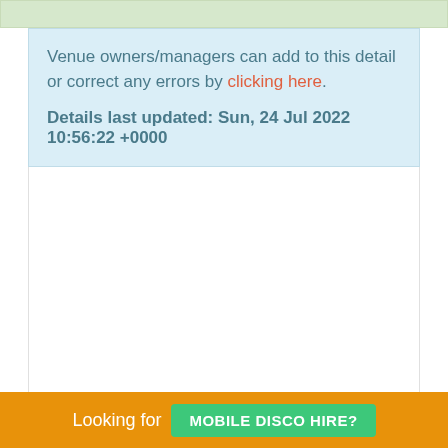Venue owners/managers can add to this detail or correct any errors by clicking here.
Details last updated: Sun, 24 Jul 2022 10:56:22 +0000
Looking for MOBILE DISCO HIRE?